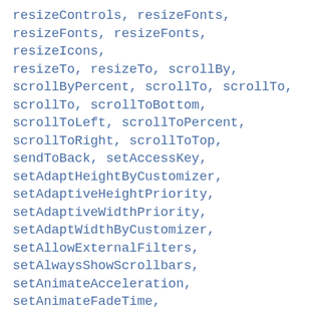resizeControls, resizeFonts, resizeFonts, resizeFonts, resizeIcons, resizeTo, resizeTo, scrollBy, scrollByPercent, scrollTo, scrollTo, scrollTo, scrollToBottom, scrollToLeft, scrollToPercent, scrollToRight, scrollToTop, sendToBack, setAccessKey, setAdaptHeightByCustomizer, setAdaptiveHeightPriority, setAdaptiveWidthPriority, setAdaptWidthByCustomizer, setAllowExternalFilters, setAlwaysShowScrollbars, setAnimateAcceleration, setAnimateFadeTime, setAnimateHideAcceleration, setAnimateHideEffect, setAnimateHideTime, setAnimateMoveAcceleration,